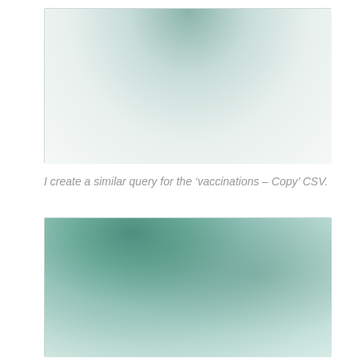[Figure (screenshot): Screenshot of a software interface showing a blurred/faded query window with greenish-teal gradient at the top]
I create a similar query for the ‘vaccinations – Copy’ CSV.
[Figure (screenshot): Screenshot of a software interface showing another blurred/faded query window with greenish-teal gradient colors]